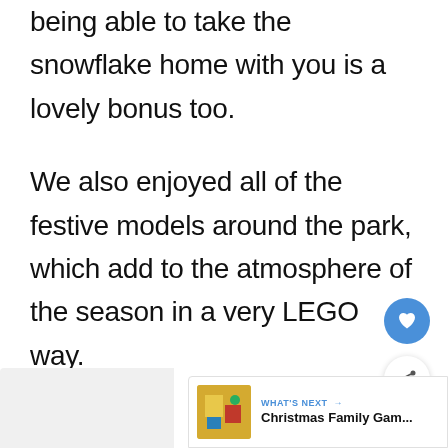being able to take the snowflake home with you is a lovely bonus too.

We also enjoyed all of the festive models around the park, which add to the atmosphere of the season in a very LEGO way.